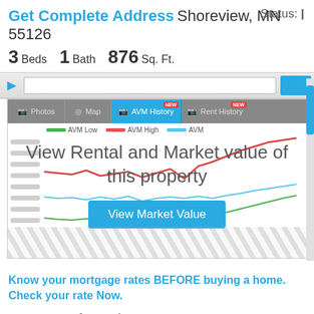Get Complete Address Shoreview, MN 55126
3 Beds  1 Bath  876 Sq. Ft.   Status:
[Figure (screenshot): AVM History line chart with three lines: AVM Low (green), AVM High (red), AVM (blue). Chart is partially obscured by overlay text 'View Rental and Market value of this property' and a 'View Market Value' button. Navigation tabs: Photos, Map, AVM History (active), Rent History.]
Know your mortgage rates BEFORE buying a home. Check your rate Now.
Property Information